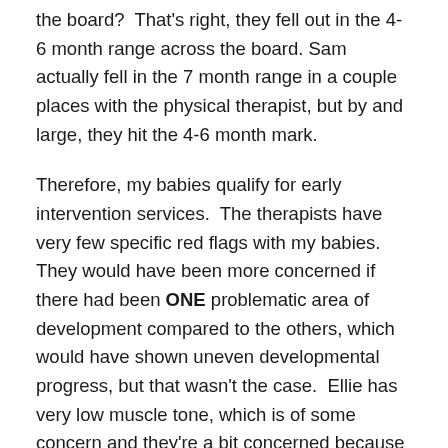the board?  That's right, they fell out in the 4-6 month range across the board. Sam actually fell in the 7 month range in a couple places with the physical therapist, but by and large, they hit the 4-6 month mark.
Therefore, my babies qualify for early intervention services.  The therapists have very few specific red flags with my babies.  They would have been more concerned if there had been ONE problematic area of development compared to the others, which would have shown uneven developmental progress, but that wasn't the case.  Ellie has very low muscle tone, which is of some concern and they're a bit concerned because her tongue hangs out of her mouth constantly (but even that seems to be resolving itself in the month that has past since they assessed her, interestingly enough).  They've called for physical therapy